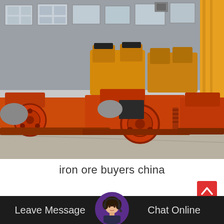[Figure (photo): Photograph of multiple large orange-painted industrial crushing machines (jaw crushers and hammer mills) arranged in rows inside a factory warehouse. Yellow hammer mills visible in background, red/orange jaw crushers in foreground with large flywheels and springs.]
iron ore buyers china
[Figure (illustration): Red square button with white upward-pointing chevron arrow (scroll-to-top button)]
[Figure (photo): Chat bar at bottom of page with dark background showing a customer service representative avatar (woman with headset) in a purple-bordered circular frame, with 'Leave Message' text on left and 'Chat Online' text on right.]